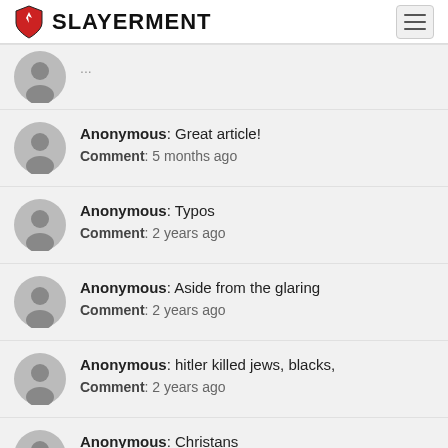SLAYERMENT
Anonymous: Great article! Comment: 5 months ago
Anonymous: Typos Comment: 2 years ago
Anonymous: Aside from the glaring Comment: 2 years ago
Anonymous: hitler killed jews, blacks, Comment: 2 years ago
Anonymous: Christans Comment: 2 years ago
Anonymous: You all just want to feel special Comment: 2 years ago
Anonymous: [partial, cut off at bottom]